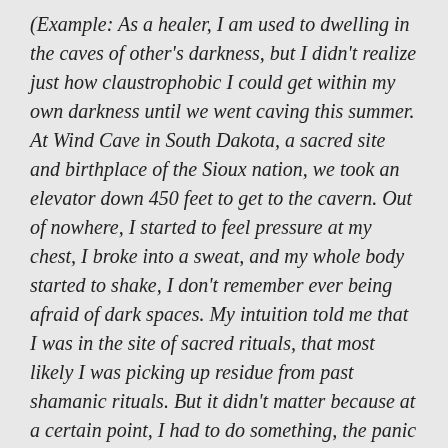(Example: As a healer, I am used to dwelling in the caves of other's darkness, but I didn't realize just how claustrophobic I could get within my own darkness until we went caving this summer. At Wind Cave in South Dakota, a sacred site and birthplace of the Sioux nation, we took an elevator down 450 feet to get to the cavern. Out of nowhere, I started to feel pressure at my chest, I broke into a sweat, and my whole body started to shake, I don't remember ever being afraid of dark spaces. My intuition told me that I was in the site of sacred rituals, that most likely I was picking up residue from past shamanic rituals. But it didn't matter because at a certain point, I had to do something, the panic was becoming insurmountable. I brought my awareness to the sensation of my hands, focusing my breath at the diaphragm (solar plexus area) as best as I could. The people I was hiking with kindly let me go to the top of the line, and I focused on the spotlights in the caverns and taking